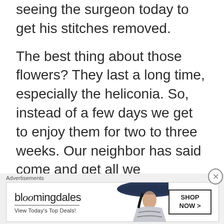seeing the surgeon today to get his stitches removed.
The best thing about those flowers? They last a long time, especially the heliconia. So, instead of a few days we get to enjoy them for two to three weeks. Our neighbor has said come and get all we
Advertisements
[Figure (other): Bloomingdale's advertisement banner with logo, 'View Today's Top Deals!' tagline, woman with hat image, and 'SHOP NOW >' button]